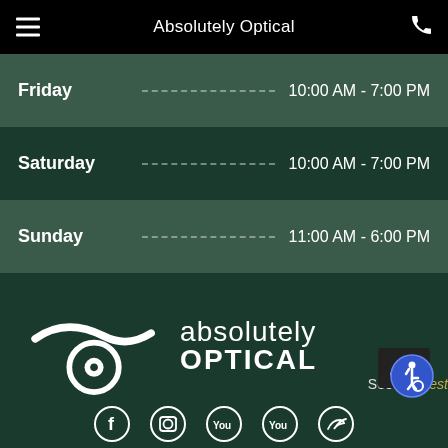Absolutely Optical
| Day | Hours |
| --- | --- |
| Friday | 10:00 AM - 7:00 PM |
| Saturday | 10:00 AM - 7:00 PM |
| Sunday | 11:00 AM - 6:00 PM |
[Figure (logo): Absolutely Optical logo — stylized eye icon with wave, text 'absolutely OPTICAL' and tagline 'See the Best']
[Figure (other): Accessibility (wheelchair) icon — blue circle with white wheelchair user symbol]
[Figure (other): Social media icons row — Facebook, Instagram, YouTube (x2), Twitter]